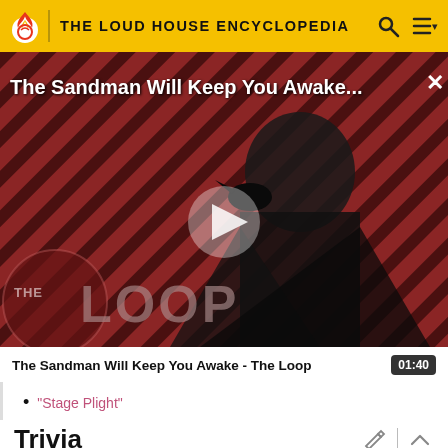THE LOUD HOUSE ENCYCLOPEDIA
[Figure (screenshot): Video thumbnail showing a dark-cloaked figure against a red diagonal striped background with 'THE LOOP' text overlay and a play button. Title overlay reads 'The Sandman Will Keep You Awake...']
The Sandman Will Keep You Awake - The Loop   01:40
"Stage Plight"
Trivia